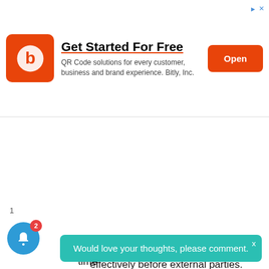[Figure (infographic): Advertisement banner: Bitly logo (orange square with white circle 'b' icon), title 'Get Started For Free', subtitle 'QR Code solutions for every customer, business and brand experience. Bitly, Inc.', orange 'Open' button, and ad icon in top right corner.]
Ability to represent the organization effectively before external parties.
Ability to consider the impact of a shift in programmatic direction to the needs of internal and external stakeholders;
Ability to promote and consider staff feedback to streamline processes in order to meet deadlines of relevance to client expectations;
Ability to consistently maintain composure and direction in high- pressure situations;
...ion and ...s discrepancies, complaints, bottle-necks, time
Would love your thoughts, please comment.